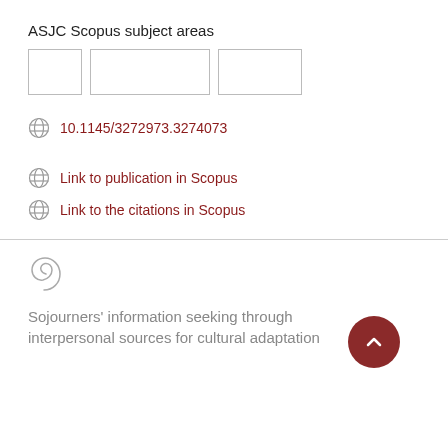ASJC Scopus subject areas
[Figure (other): Three empty placeholder boxes for ASJC Scopus subject area tags]
10.1145/3272973.3274073
Link to publication in Scopus
Link to the citations in Scopus
[Figure (logo): Spiral/snail shell icon (Pure research portal logo)]
Sojourners' information seeking through interpersonal sources for cultural adaptation